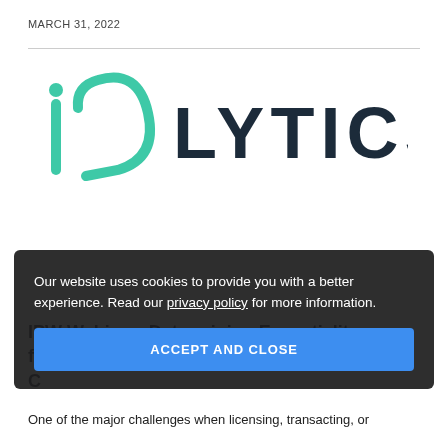MARCH 31, 2022
[Figure (logo): IPlytics logo: stylized 'ip' letters in teal/green on the left, followed by 'LYTICS' in large dark navy spaced lettering on the right]
IPW Webinar: Determining Essentiality for Standard Essential Patents: C...
Our website uses cookies to provide you with a better experience. Read our privacy policy for more information.
ACCEPT AND CLOSE
One of the major challenges when licensing, transacting, or